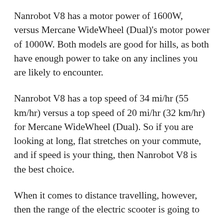Nanrobot V8 has a motor power of 1600W, versus Mercane WideWheel (Dual)'s motor power of 1000W. Both models are good for hills, as both have enough power to take on any inclines you are likely to encounter.
Nanrobot V8 has a top speed of 34 mi/hr (55 km/hr) versus a top speed of 20 mi/hr (32 km/hr) for Mercane WideWheel (Dual). So if you are looking at long, flat stretches on your commute, and if speed is your thing, then Nanrobot V8 is the best choice.
When it comes to distance travelling, however, then the range of the electric scooter is going to